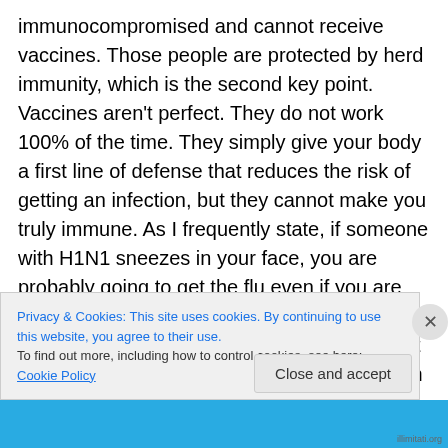immunocompromised and cannot receive vaccines. Those people are protected by herd immunity, which is the second key point. Vaccines aren't perfect. They do not work 100% of the time. They simply give your body a first line of defense that reduces the risk of getting an infection, but they cannot make you truly immune. As I frequently state, if someone with H1N1 sneezes in your face, you are probably going to get the flu even if you are vaccinated. So, the more infected people that you are around, the more likely you are to get sick, but, if lots of people are vaccinated, then the disease has trouble taking hold and
Privacy & Cookies: This site uses cookies. By continuing to use this website, you agree to their use. To find out more, including how to control cookies, see here: Cookie Policy
Close and accept